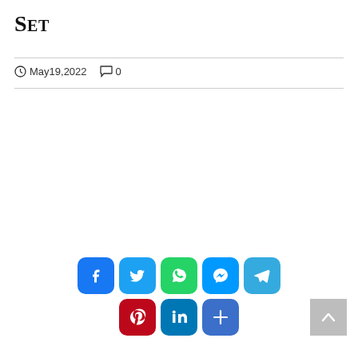Set
May 19, 2022  0
[Figure (infographic): Social media share buttons: Facebook (blue), Twitter (light blue), WhatsApp (green), Messenger (blue), Telegram (blue) in top row; Pinterest (red), LinkedIn (teal), More/Share (blue) in bottom row. Back-to-top arrow button in grey at bottom right.]